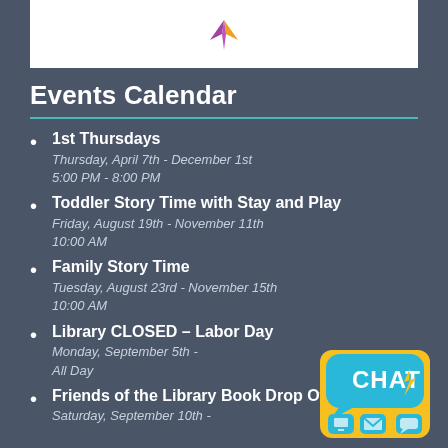[Figure (logo): Library logo with purple/orange star icon on white banner background]
Events Calendar
1st Thursdays
Thursday, April 7th - December 1st
5:00 PM - 8:00 PM
Toddler Story Time with Stay and Play
Friday, August 19th - November 11th
10:00 AM
Family Story Time
Tuesday, August 23rd - November 15th
10:00 AM
Library CLOSED – Labor Day
Monday, September 5th -
All Day
Friends of the Library Book Drop Off
Saturday, September 10th -
[Figure (logo): CHAT badge/button with chat bubble icon in blue and yellow, with icons for phone, email, and chat below]